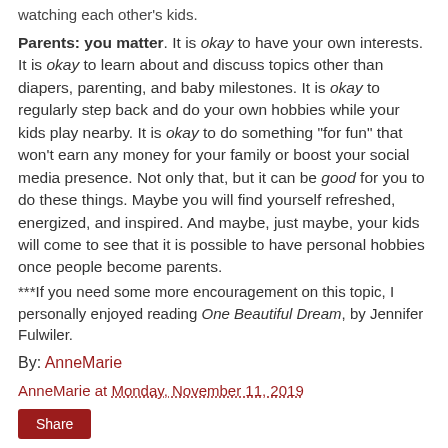watching each other's kids.
Parents: you matter. It is okay to have your own interests. It is okay to learn about and discuss topics other than diapers, parenting, and baby milestones. It is okay to regularly step back and do your own hobbies while your kids play nearby. It is okay to do something "for fun" that won't earn any money for your family or boost your social media presence. Not only that, but it can be good for you to do these things. Maybe you will find yourself refreshed, energized, and inspired. And maybe, just maybe, your kids will come to see that it is possible to have personal hobbies once people become parents.
***If you need some more encouragement on this topic, I personally enjoyed reading One Beautiful Dream, by Jennifer Fulwiler.
By: AnneMarie
AnneMarie at Monday, November 11, 2019
Share